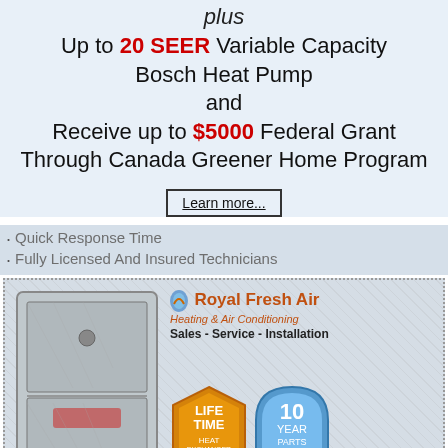plus
Up to 20 SEER Variable Capacity Bosch Heat Pump and Receive up to $5000 Federal Grant Through Canada Greener Home Program
Learn more...
Quick Response Time
Fully Licensed And Insured Technicians
[Figure (photo): Furnace unit and Royal Fresh Air Heating & Air Conditioning company logo with warranty badges including Lifetime Heat Exchanger Limited and 10 Year Parts Limited]